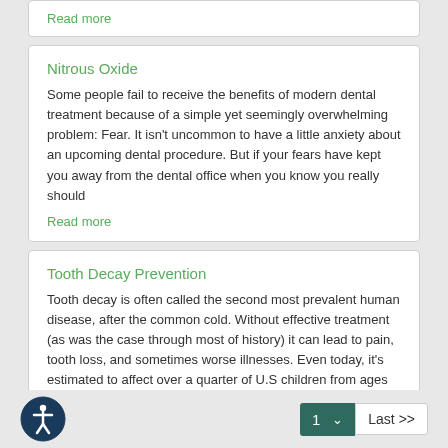Read more
Nitrous Oxide
Some people fail to receive the benefits of modern dental treatment because of a simple yet seemingly overwhelming problem: Fear. It isn't uncommon to have a little anxiety about an upcoming dental procedure. But if your fears have kept you away from the dental office when you know you really should
Read more
Tooth Decay Prevention
Tooth decay is often called the second most prevalent human disease, after the common cold. Without effective treatment (as was the case through most of history) it can lead to pain, tooth loss, and sometimes worse illnesses. Even today, it's estimated to affect over a quarter of U.S children from ages
Read more